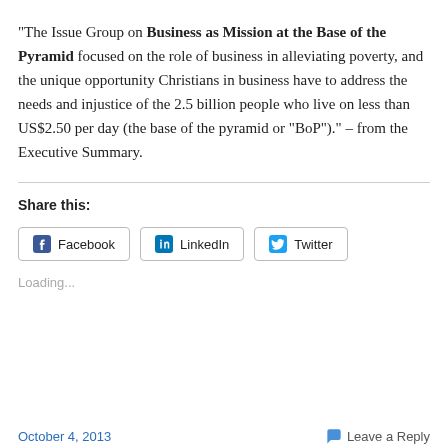“The Issue Group on Business as Mission at the Base of the Pyramid focused on the role of business in alleviating poverty, and the unique opportunity Christians in business have to address the needs and injustice of the 2.5 billion people who live on less than US$2.50 per day (the base of the pyramid or “BoP”).” – from the Executive Summary.
Share this:
Facebook  LinkedIn  Twitter
Loading...
October 4, 2013    Leave a Reply